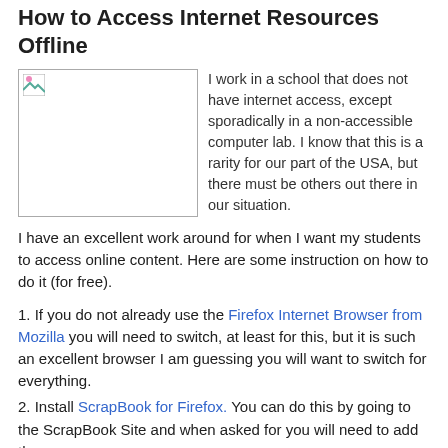How to Access Internet Resources Offline
[Figure (photo): Broken image placeholder (image failed to load)]
I work in a school that does not have internet access, except sporadically in a non-accessible computer lab. I know that this is a rarity for our part of the USA, but there must be others out there in our situation.
I have an excellent work around for when I want my students to access online content. Here are some instruction on how to do it (for free).
1. If you do not already use the Firefox Internet Browser from Mozilla you will need to switch, at least for this, but it is such an excellent browser I am guessing you will want to switch for everything.
2. Install ScrapBook for Firefox. You can do this by going to the ScrapBook Site and when asked for you will need to add the...